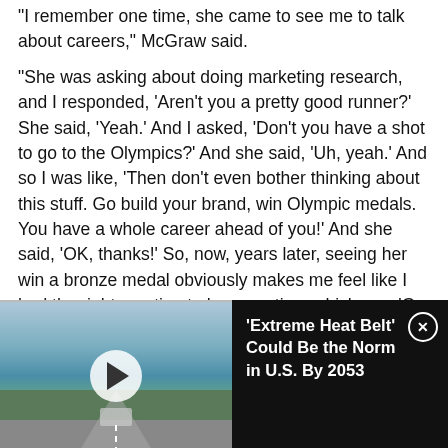“I remember one time, she came to see me to talk about careers,” McGraw said.
“She was asking about doing marketing research, and I responded, ‘Aren’t you a pretty good runner?’ She said, ‘Yeah.’ And I asked, ‘Don’t you have a shot to go to the Olympics?’ And she said, ‘Uh, yeah.’ And so I was like, ‘Then don’t even bother thinking about this stuff. Go build your brand, win Olympic medals. You have a whole career ahead of you!’ And she said, ‘OK, thanks!’ So, now, years later, seeing her win a bronze medal obviously makes me feel like I had the right reaction to her question, which was ‘Go see where this running thing takes you first.’ ”
[Figure (screenshot): Video thumbnail showing a road scene with a car, trees and sky; play button overlay; dark sidebar with text '‘Extreme Heat Belt’ Could Be the Norm in U.S. By 2053' and a close button]